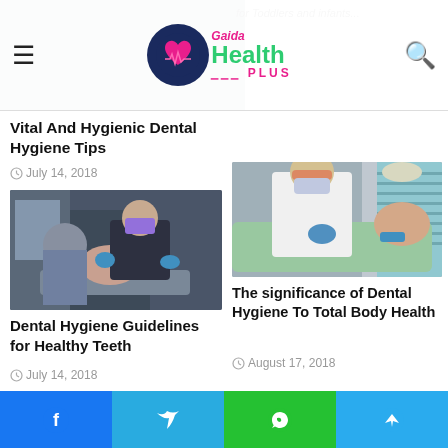Gaida Health PLUS
[Figure (photo): Partial screenshot showing top of a webpage with partially visible article about toddlers and infants]
Vital And Hygienic Dental Hygiene Tips
July 14, 2018
[Figure (photo): Dental hygienist in mask and gloves treating a patient in a dental chair]
[Figure (photo): Dentist in white coat and mask treating a patient lying in dental chair]
Dental Hygiene Guidelines for Healthy Teeth
July 14, 2018
The significance of Dental Hygiene To Total Body Health
August 17, 2018
Facebook Twitter WhatsApp Telegram